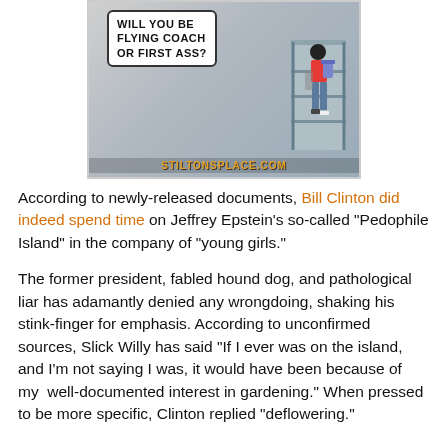[Figure (illustration): Comic image showing a person boarding an airplane with a speech bubble reading 'WILL YOU BE FLYING COACH OR FIRST ASS?' with watermark STILTONSPLACE.COM]
According to newly-released documents, Bill Clinton did indeed spend time on Jeffrey Epstein's so-called "Pedophile Island" in the company of "young girls."
The former president, fabled hound dog, and pathological liar has adamantly denied any wrongdoing, shaking his stink-finger for emphasis. According to unconfirmed sources, Slick Willy has said "If I ever was on the island, and I'm not saying I was, it would have been because of my  well-documented interest in gardening." When pressed to be more specific, Clinton replied "deflowering."